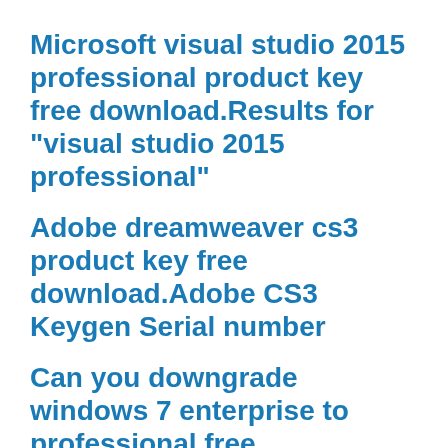Microsoft visual studio 2015 professional product key free download.Results for “visual studio 2015 professional”
Adobe dreamweaver cs3 product key free download.Adobe CS3 Keygen Serial number
Can you downgrade windows 7 enterprise to professional free download.Other Subreddits
Windows 7 32 bit max ram usage free download.RAM, virtual memory, pagefile, and memory